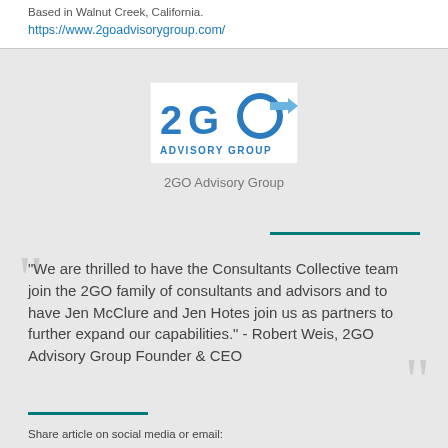Based in Walnut Creek, California.
https://www.2goadvisorygroup.com/
[Figure (logo): 2GO Advisory Group logo with blue stylized text and arrow]
2GO Advisory Group
“We are thrilled to have the Consultants Collective team join the 2GO family of consultants and advisors and to have Jen McClure and Jen Hotes join us as partners to further expand our capabilities.” - Robert Weis, 2GO Advisory Group Founder & CEO
Share article on social media or email: